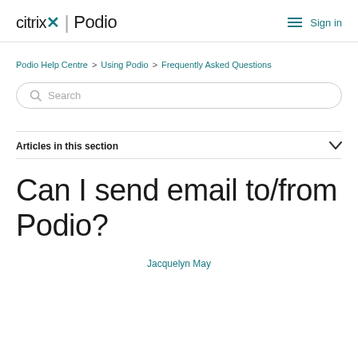citrix. | Podio   Sign in
Podio Help Centre > Using Podio > Frequently Asked Questions
[Figure (other): Search input box with magnifying glass icon and placeholder text 'Search']
Articles in this section
Can I send email to/from Podio?
Jacquelyn May